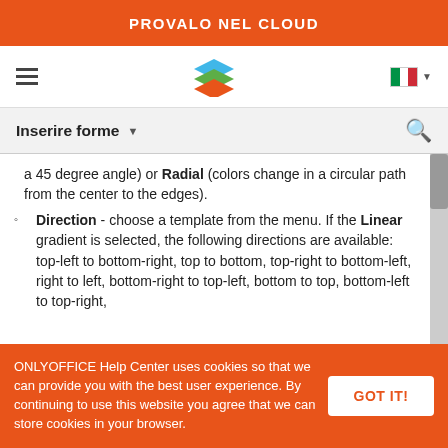PROVALO NEL CLOUD
[Figure (logo): ONLYOFFICE layered logo in blue, green and orange]
Inserire forme
a 45 degree angle) or Radial (colors change in a circular path from the center to the edges).
Direction - choose a template from the menu. If the Linear gradient is selected, the following directions are available: top-left to bottom-right, top to bottom, top-right to bottom-left, right to left, bottom-right to top-left, bottom to top, bottom-left to top-right, ...If the Radial gradient is selected, ...gradient by clicking the slider under gradient far to activate the color box which corresponds to the first color. Click on the color box on the right to choose the first color in the palette. Drag the slider to set the
ONLYOFFICE Help Center uses cookies so that we can provide you with the best user experience. By continuing to use this website you agree that we can store cookies in your browser.